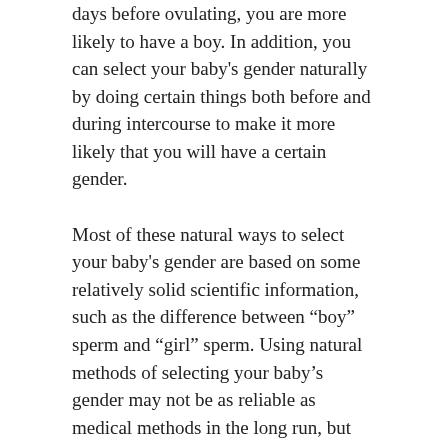days before ovulating, you are more likely to have a boy. In addition, you can select your baby's gender naturally by doing certain things both before and during intercourse to make it more likely that you will have a certain gender.
Most of these natural ways to select your baby's gender are based on some relatively solid scientific information, such as the difference between “boy” sperm and “girl” sperm. Using natural methods of selecting your baby’s gender may not be as reliable as medical methods in the long run, but they are certainly less complicated, and less expensive as well.
SEPTEMBER 25, 2021
Day of Conception and Baby’s Gender
Believe it or not, the day of conception can indeed contribute to how a baby’s gender is determined. While it